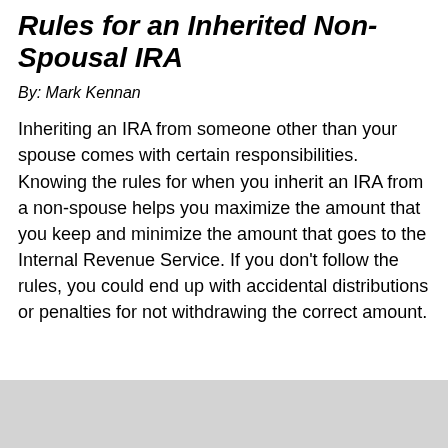Rules for an Inherited Non-Spousal IRA
By: Mark Kennan
Inheriting an IRA from someone other than your spouse comes with certain responsibilities. Knowing the rules for when you inherit an IRA from a non-spouse helps you maximize the amount that you keep and minimize the amount that goes to the Internal Revenue Service. If you don't follow the rules, you could end up with accidental distributions or penalties for not withdrawing the correct amount.